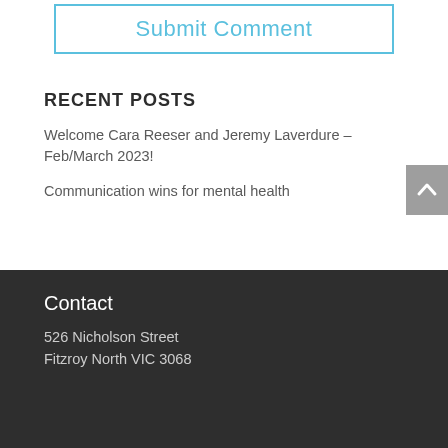[Figure (other): Submit Comment button with light blue border and text]
RECENT POSTS
Welcome Cara Reeser and Jeremy Laverdure – Feb/March 2023!
Communication wins for mental health
Contact
526 Nicholson Street
Fitzroy North VIC 3068